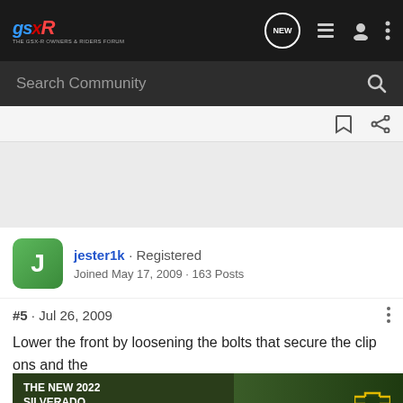GSXR community forum navigation bar with logo, NEW, list, user, and menu icons
Search Community
jester1k · Registered
Joined May 17, 2009 · 163 Posts
#5 · Jul 26, 2009
Lower the front by loosening the bolts that secure the clip ons and the [ad overlay] de them ar favor and...